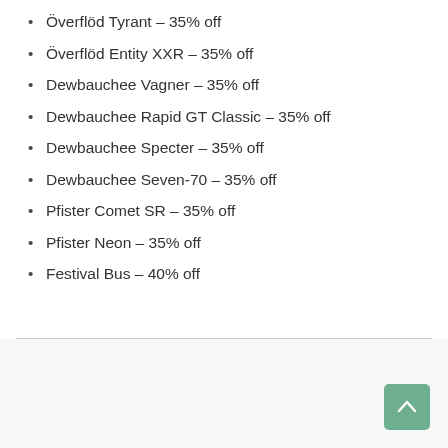Överflöd Tyrant – 35% off
Överflöd Entity XXR – 35% off
Dewbauchee Vagner – 35% off
Dewbauchee Rapid GT Classic – 35% off
Dewbauchee Specter – 35% off
Dewbauchee Seven-70 – 35% off
Pfister Comet SR – 35% off
Pfister Neon – 35% off
Festival Bus – 40% off